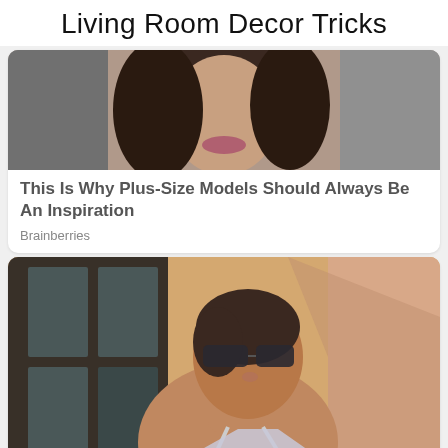Living Room Decor Tricks
[Figure (photo): Close-up photo of a woman with dark curly hair and full lips against a dark background]
This Is Why Plus-Size Models Should Always Be An Inspiration
Brainberries
[Figure (photo): Woman wearing sunglasses and a silver halter top, looking up in sunlight against a pink wall]
Jennifer Lopez Body Hacks: Her Best Kept Fitness And Diet Secrets
✕ CLOSE